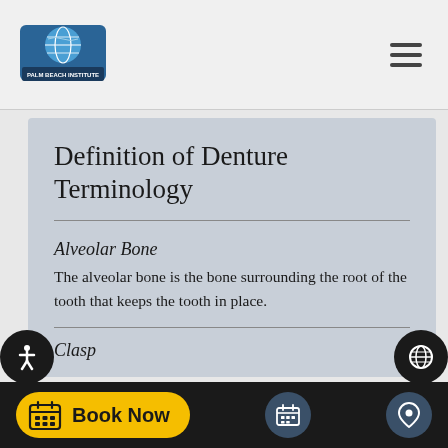[Figure (logo): Palm Beach Institute of Dentistry logo with globe icon]
Definition of Denture Terminology
Alveolar Bone
The alveolar bone is the bone surrounding the root of the tooth that keeps the tooth in place.
Clasp
[Figure (screenshot): Book Now button and navigation icons in bottom bar]